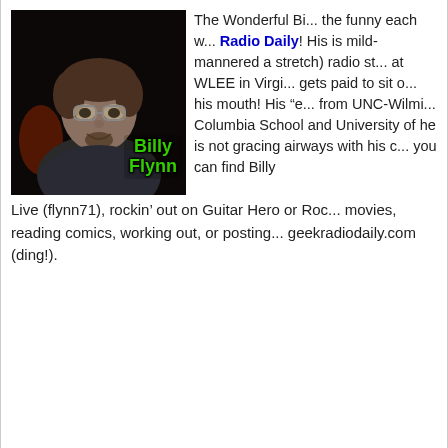[Figure (photo): Photo of Billy Flynn, a young man with glasses and a goatee wearing a dark patterned shirt, smiling at the camera. The name 'Billy Flynn' is overlaid in green bold text at the bottom right of the photo.]
The Wonderful Bi... the funny each w... Radio Daily! His is mild-mannered a stretch) radio st... at WLEE in Virgi... gets paid to sit o... his mouth! His "e... from UNC-Wilmi... Columbia School and University of he is not gracing airways with his ... you can find Billy Live (flynn71), rockin' out on Guitar Hero or Roc... movies, reading comics, working out, or posting... geekradiodaily.com (ding!).